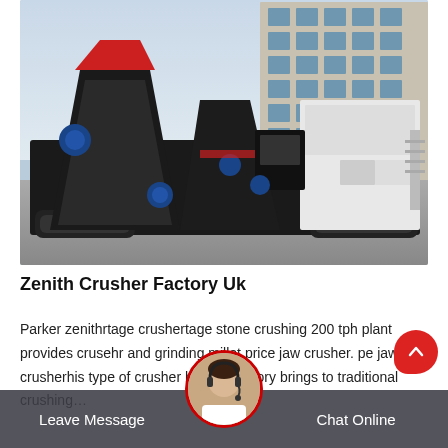[Figure (photo): A large mobile jaw crusher / screening plant on crawler tracks, parked in front of a multi-storey commercial building with blue glass facade. The machine is predominantly black with red and blue accents, showing conveyor belts and screening decks.]
Zenith Crusher Factory Uk
Parker zenithrtage crushertage stone crushing 200 tph plant provides crusehr and grinding millet price jaw crusher. pe jaw crusherhis type of crusher hasong history brings to traditional crushing…
Leave Message   Chat Online